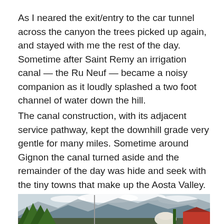As I neared the exit/entry to the car tunnel across the canyon the trees picked up again, and stayed with me the rest of the day. Sometime after Saint Remy an irrigation canal — the Ru Neuf — became a noisy companion as it loudly splashed a two foot channel of water down the hill.
The canal construction, with its adjacent service pathway, kept the downhill grade very gentle for many miles. Sometime around Gignon the canal turned aside and the remainder of the day was hide and seek with the tiny towns that make up the Aosta Valley.
[Figure (photo): Outdoor photograph showing a person in the foreground wearing a white helmet/hat, with tall trees on the left, a flag pole in the center, mountains with clouds in the background, and a red building on the right. The scene appears to be in the Aosta Valley.]